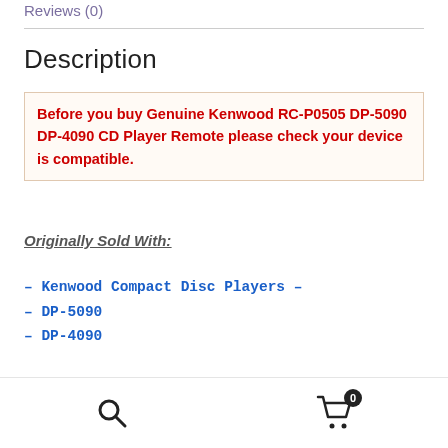Reviews (0)
Description
Before you buy Genuine Kenwood RC-P0505 DP-5090 DP-4090 CD Player Remote please check your device is compatible.
Originally Sold With:
– Kenwood Compact Disc Players –
– DP-5090
– DP-4090
All used remotes are tested with an infrared fob